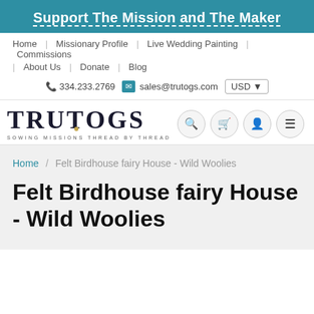Support The Mission and The Maker
Home | Missionary Profile | Live Wedding Painting | Commissions | About Us | Donate | Blog
334.233.2769  sales@trutogs.com  USD
[Figure (logo): TRUTOGS logo with tagline SOWING MISSIONS THREAD BY THREAD]
Search, Cart, Account, Menu icons
Home / Felt Birdhouse fairy House - Wild Woolies
Felt Birdhouse fairy House - Wild Woolies